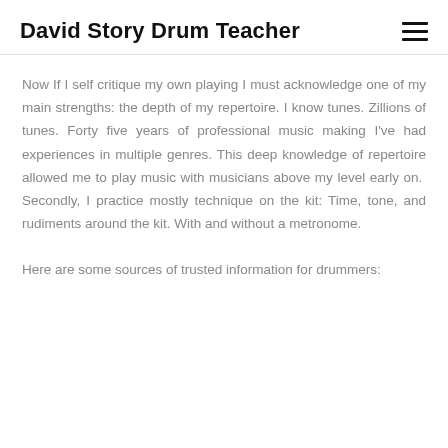David Story Drum Teacher
Now If I self critique my own playing I must acknowledge one of my main strengths: the depth of my repertoire. I know tunes. Zillions of tunes. Forty five years of professional music making I've had experiences in multiple genres. This deep knowledge of repertoire allowed me to play music with musicians above my level early on. Secondly, I practice mostly technique on the kit: Time, tone, and rudiments around the kit. With and without a metronome.
Here are some sources of trusted information for drummers: